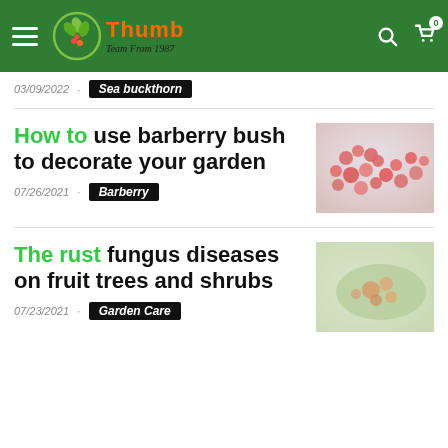Thrums Thumb — Team From 1987
03/09/2022 · Sea buckthorn
How to use barberry bush to decorate your garden
[Figure (photo): Red berries on a barberry bush, close-up photograph]
07/26/2021 · Barberry
The rust fungus diseases on fruit trees and shrubs
[Figure (photo): Close-up of rust fungus on a green leaf]
07/23/2021 · Garden Care